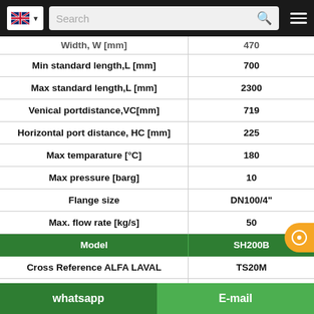Navigation bar with UK flag, search box, and hamburger menu
| Parameter | Value |
| --- | --- |
| Width, W [mm] | 470 |
| Min standard length,L [mm] | 700 |
| Max standard length,L [mm] | 2300 |
| Venical portdistance,VC[mm] | 719 |
| Horizontal port distance, HC [mm] | 225 |
| Max temparature [°C] | 180 |
| Max pressure [barg] | 10 |
| Flange size | DN100/4" |
| Max. flow rate [kg/s] | 50 |
| Model | SH200B |
| Cross Reference ALFA LAVAL | TS20M |
| HeigHt. H [mm] | 1405 |
| Width, W [mm] | 740 |
| Min standard length,L [mm] | 900 |
| Max standard length,L [mm] | ... |
whatsapp   E-mail